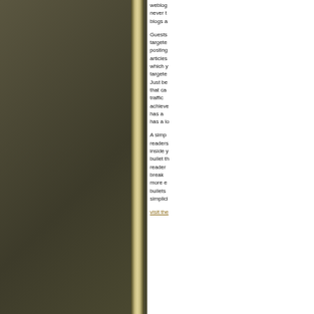[Figure (photo): Dark olive/khaki toned photograph taking up the left portion of the page, showing light and shadow patterns with a golden vertical divider strip on the right edge of the image area.]
weblog never t blogs a Guests targete posting articles which y targete Just be that ca traffic achieve has a has a lo A simp readers inside y bullet th reader break more e bullets simplici visit the
visit the